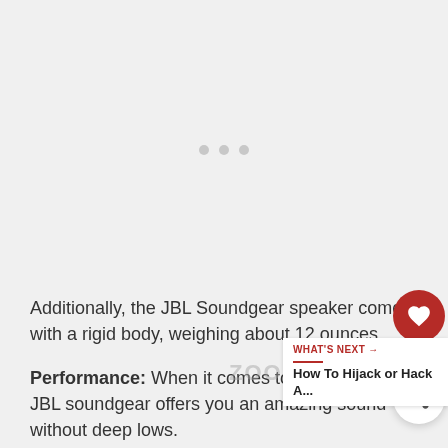[Figure (other): Image loading placeholder with three gray dots indicating content loading]
Additionally, the JBL Soundgear speaker comes with a rigid body, weighing about 12 ounces.
Performance: When it comes to the audio o[f]... JBL soundgear offers you an amazing sound [signature] without deep lows.